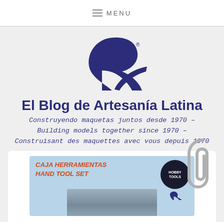≡ MENU
[Figure (logo): Artesania Latina stylized R logo in dark navy blue]
El Blog de Artesanía Latina
Construyendo maquetas juntos desde 1970 – Building models together since 1970 – Construisant des maquettes avec vous depuis 1970
[Figure (photo): Product image: Caja Herramientas Hand Tool Set box with Hobby Tools badge and Artesania Latina logo]